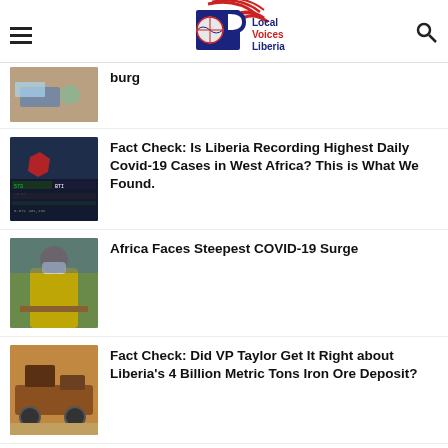Local Voices Liberia
[Figure (screenshot): Partially visible news thumbnail - top item (gloves/medical)]
burg
[Figure (screenshot): News thumbnail showing map with red highlight and trading screens]
Fact Check: Is Liberia Recording Highest Daily Covid-19 Cases in West Africa? This is What We Found.
[Figure (photo): Person in yellow vest and mask seated at table]
Africa Faces Steepest COVID-19 Surge
[Figure (photo): Mining/ore transport machinery in dusty environment]
Fact Check: Did VP Taylor Get It Right about Liberia’s 4 Billion Metric Tons Iron Ore Deposit?
[Figure (photo): Partially visible - person in formal wear]
Fact Check: Congress for Democratic Change Did Not Win 72 Legislative Seats in 2005 as Claimed By Commerce